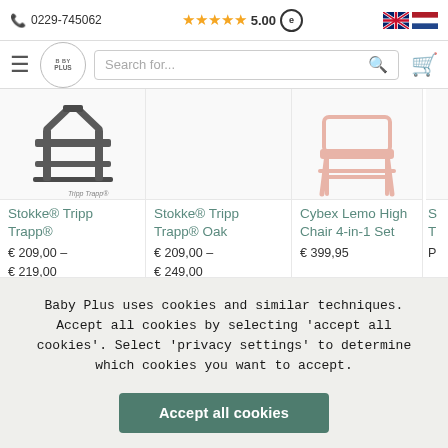0229-745062  ★★★★★ 5.00
[Figure (screenshot): Baby Plus website navigation bar with hamburger menu, circular logo, search field, and cart icon]
[Figure (photo): Stokke Tripp Trapp product image (partial)]
Stokke® Tripp Trapp®
€ 209,00 – € 219,00
[Figure (photo): Stokke Tripp Trapp Oak product image (empty/white)]
Stokke® Tripp Trapp® Oak
€ 209,00 – € 249,00
[Figure (photo): Cybex Lemo High Chair 4-in-1 Set product image]
Cybex Lemo High Chair 4-in-1 Set
€ 399,95
Baby Plus uses cookies and similar techniques. Accept all cookies by selecting 'accept all cookies'. Select 'privacy settings' to determine which cookies you want to accept.
Accept all cookies
Privacy policy  Privacy settings